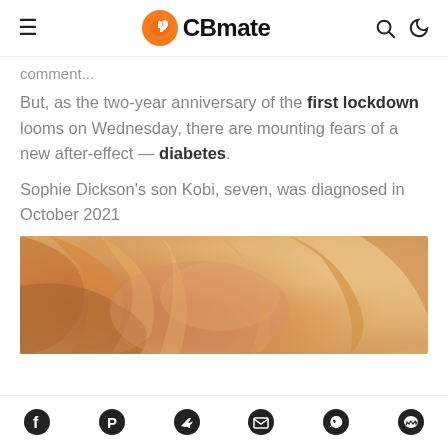CBmate
comment...
But, as the two-year anniversary of the first lockdown looms on Wednesday, there are mounting fears of a new after-effect — diabetes.
Sophie Dickson's son Kobi, seven, was diagnosed in October 2021
[Figure (photo): Close-up photo of a child with tousled blonde/red hair, warm tones]
Social share icons: Facebook, Pinterest, Twitter, Email, WhatsApp, Messenger